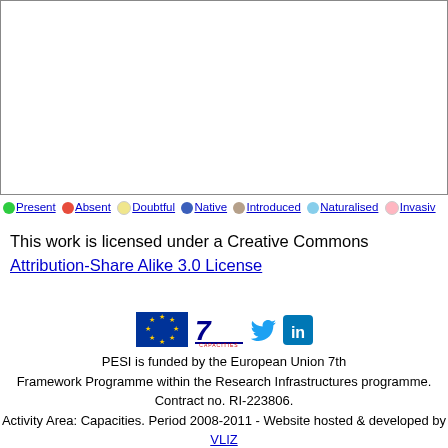[Figure (map): World distribution map (mostly blank white in this view) with border outline]
Present  Absent  Doubtful  Native  Introduced  Naturalised  Invasiv
This work is licensed under a Creative Commons Attribution-Share Alike 3.0 License
[Figure (logo): EU flag, 7 Capacities logo, Twitter bird icon, LinkedIn icon]
PESI is funded by the European Union 7th Framework Programme within the Research Infrastructures programme. Contract no. RI-223806. Activity Area: Capacities. Period 2008-2011 - Website hosted & developed by VLIZ
Banner picture: gannet (Morus bassanus (Linnaeus, 1758)) by Karl van Ginderdeuren. - Contact PESI